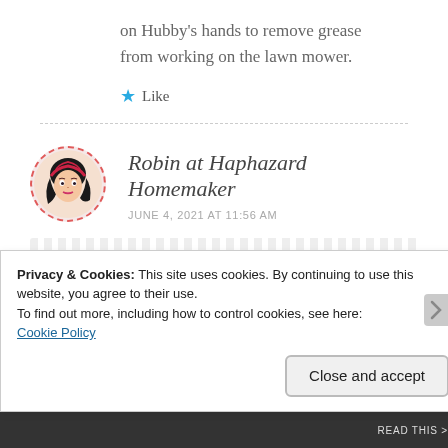on Hubby's hands to remove grease from working on the lawn mower.
★ Like
Robin at Haphazard Homemaker
JUNE 4, 2021 AT 11:56 AM
Privacy & Cookies: This site uses cookies. By continuing to use this website, you agree to their use.
To find out more, including how to control cookies, see here:
Cookie Policy
Close and accept